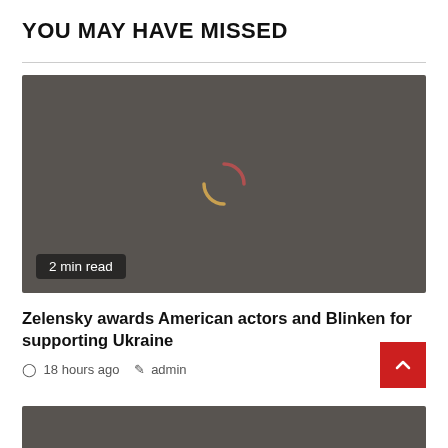YOU MAY HAVE MISSED
[Figure (photo): Dark grey placeholder image with a loading spinner icon in the center. A '2 min read' badge appears at the bottom left.]
Zelensky awards American actors and Blinken for supporting Ukraine
18 hours ago   admin